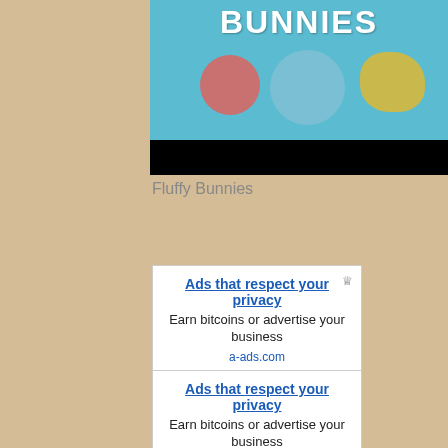[Figure (illustration): Colorful illustration showing the word BUNNIES in white on a teal/blue background with a pink circle, light blue circle, and golden triangle-like shape below. Bottom portion has a black bar.]
Fluffy Bunnies
[Figure (other): Advertisement banner: 'Ads that respect your privacy' - Earn bitcoins or advertise your business - a-ads.com]
[Figure (other): Advertisement banner: 'Ads that respect your privacy' - Earn bitcoins or advertise your business]